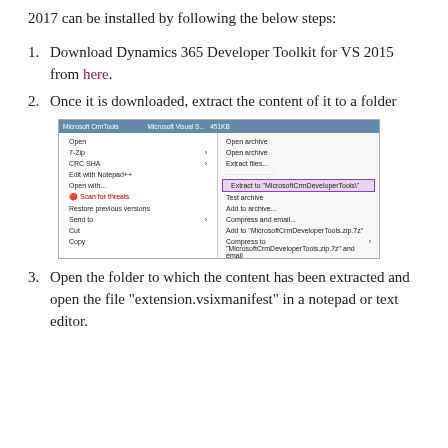2017 can be installed by following the below steps:
1. Download Dynamics 365 Developer Toolkit for VS 2015 from here.
2. Once it is downloaded, extract the content of it to a folder
[Figure (screenshot): Windows context menu showing 7-Zip extract submenu with 'Extract to "MicrosoftCrmDeveloperTools"' option highlighted in purple border]
3. Open the folder to which the content has been extracted and open the file "extension.vsixmanifest" in a notepad or text editor.